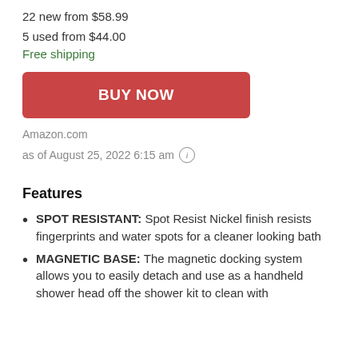22 new from $58.99
5 used from $44.00
Free shipping
BUY NOW
Amazon.com
as of August 25, 2022 6:15 am
Features
SPOT RESISTANT: Spot Resist Nickel finish resists fingerprints and water spots for a cleaner looking bath
MAGNETIC BASE: The magnetic docking system allows you to easily detach and use as a handheld shower head off the shower kit to clean with